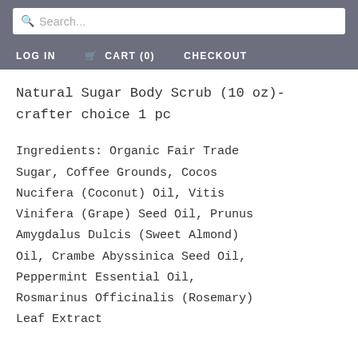Search... LOG IN  CART (0)  CHECKOUT
Natural Sugar Body Scrub (10 oz)- crafter choice 1 pc
Ingredients: Organic Fair Trade Sugar, Coffee Grounds, Cocos Nucifera (Coconut) Oil, Vitis Vinifera (Grape) Seed Oil, Prunus Amygdalus Dulcis (Sweet Almond) Oil, Crambe Abyssinica Seed Oil, Peppermint Essential Oil, Rosmarinus Officinalis (Rosemary) Leaf Extract